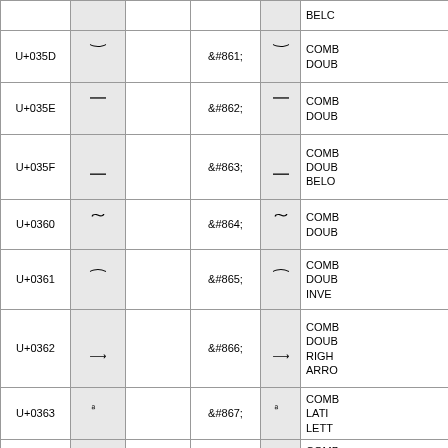| Code | Glyph | Empty | Entity | Glyph2 | Name |
| --- | --- | --- | --- | --- | --- |
| U+035D | ͝ |  | &#861; | ͝ | COMBINING DOUBLE BREVE |
| U+035E | ͞ |  | &#862; | ͞ | COMBINING DOUBLE MACRON |
| U+035F | ͟ |  | &#863; | ͟ | COMBINING DOUBLE MACRON BELOW |
| U+0360 | ͠ |  | &#864; | ͠ | COMBINING DOUBLE TILDE |
| U+0361 | ͡ |  | &#865; | ͡ | COMBINING DOUBLE INVERTED BREVE |
| U+0362 | ͢ |  | &#866; | ͢ | COMBINING DOUBLE RIGHTWARDS ARROW BELOW |
| U+0363 | ͣ |  | &#867; | ͣ | COMBINING LATIN SMALL LETTER A |
| U+0364 | ͤ |  | &#868; | ͤ | COMBINING LATIN SMALL LETTER E |
|  |  |  |  |  | COM |